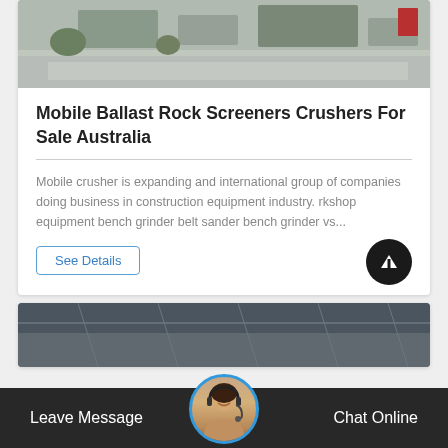[Figure (photo): Partial top photo showing an industrial or construction area with buildings and an empty road/yard]
Mobile Ballast Rock Screeners Crushers For Sale Australia
Mobile crusher is expanding and international group of companies doing business in construction equipment industry. rkshop equipment bench grinder belt sander bench grinder vs...
See Details
[Figure (photo): Partial bottom photo of a building with glass/metal structure]
Leave Message   Chat Online